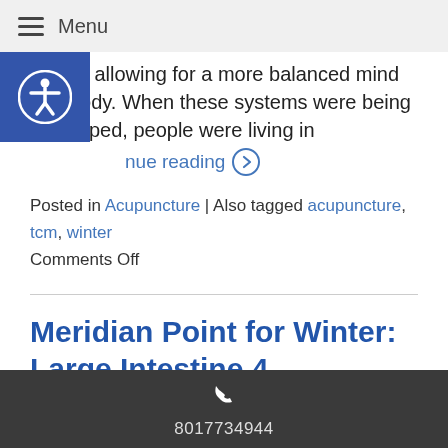Menu
habits, allowing for a more balanced mind and body. When these systems were being developed, people were living in
Continue reading →
Posted in Acupuncture | Also tagged acupuncture, tcm, winter
Comments Off
Meridian Point for Winter: Large Intestine 4
Large Intestine 4 is one of the most important and
8017734944